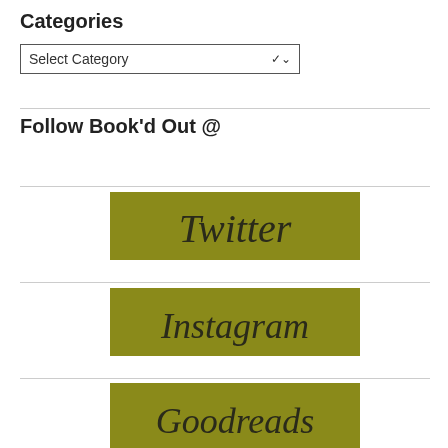Categories
[Figure (screenshot): A dropdown select box with placeholder text 'Select Category' and a chevron down arrow]
Follow Book'd Out @
[Figure (illustration): Olive/yellow-green rectangular button with cursive script text 'Twitter']
[Figure (illustration): Olive/yellow-green rectangular button with cursive script text 'Instagram']
[Figure (illustration): Olive/yellow-green rectangular button with cursive script text 'Goodreads']